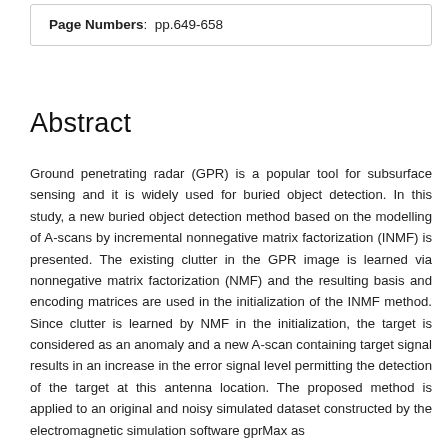Page Numbers:  pp.649-658
Abstract
Ground penetrating radar (GPR) is a popular tool for subsurface sensing and it is widely used for buried object detection. In this study, a new buried object detection method based on the modelling of A-scans by incremental nonnegative matrix factorization (INMF) is presented. The existing clutter in the GPR image is learned via nonnegative matrix factorization (NMF) and the resulting basis and encoding matrices are used in the initialization of the INMF method. Since clutter is learned by NMF in the initialization, the target is considered as an anomaly and a new A-scan containing target signal results in an increase in the error signal level permitting the detection of the target at this antenna location. The proposed method is applied to an original and noisy simulated dataset constructed by the electromagnetic simulation software gprMax as